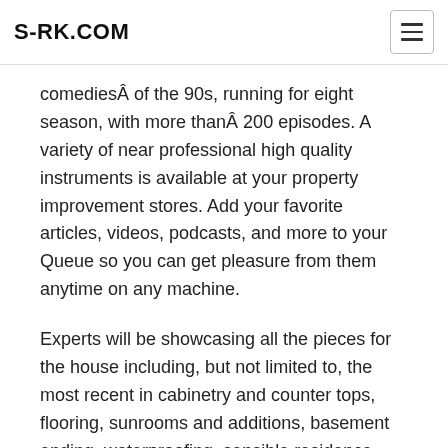S-RK.COM
comediesÂ of the 90s, running for eight season, with more thanÂ 200 episodes. A variety of near professional high quality instruments is available at your property improvement stores. Add your favorite articles, videos, podcasts, and more to your Queue so you can get pleasure from them anytime on any machine.
Experts will be showcasing all the pieces for the house including, but not limited to, the most recent in cabinetry and counter tops, flooring, sunrooms and additions, basement ending, waterproofing, sensible residence automation, power efficient home windows and exterior merchandise as well as the latest ideas pertaining to landscape installations.